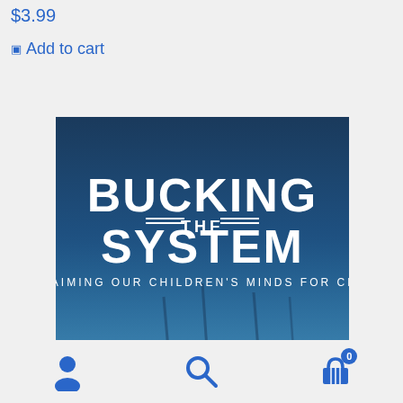$3.99
Add to cart
[Figure (illustration): Book cover for 'Bucking the System: Reclaiming Our Children's Minds for Christ' with white bold text on a dark blue background featuring a foggy/misty landscape.]
User icon | Search icon | Cart icon with badge 0